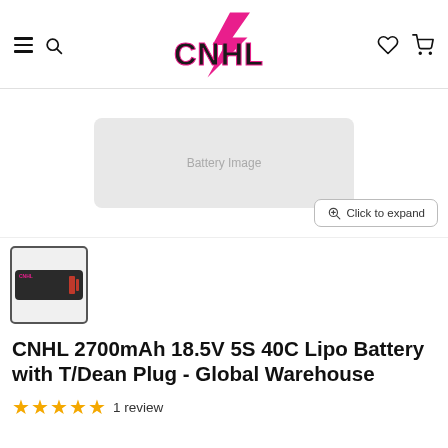CNHL (logo) navigation header with hamburger menu, search, wishlist, and cart icons
[Figure (photo): Main product image area showing CNHL LiPo battery, with Click to expand button]
[Figure (photo): Thumbnail image of CNHL 2700mAh 18.5V 5S LiPo battery with T/Dean plug]
CNHL 2700mAh 18.5V 5S 40C Lipo Battery with T/Dean Plug - Global Warehouse
★★★★★ 1 review